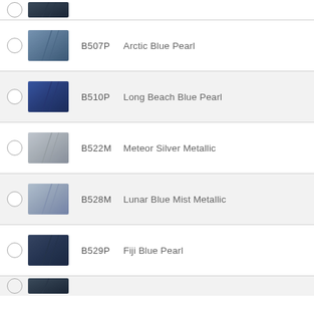(partial top item — dark blue metallic swatch)
B507P — Arctic Blue Pearl
B510P — Long Beach Blue Pearl
B522M — Meteor Silver Metallic
B528M — Lunar Blue Mist Metallic
B529P — Fiji Blue Pearl
(partial bottom item — dark blue swatch)